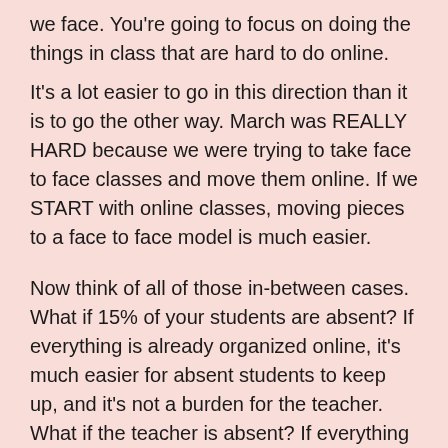we face. You're going to focus on doing the things in class that are hard to do online.
It's a lot easier to go in this direction than it is to go the other way. March was REALLY HARD because we were trying to take face to face classes and move them online. If we START with online classes, moving pieces to a face to face model is much easier.
Now think of all of those in-between cases. What if 15% of your students are absent? If everything is already organized online, it's much easier for absent students to keep up, and it's not a burden for the teacher. What if the teacher is absent? If everything is already set up in an online environment, the sub just has to make sure the students are safe. The learning continues. What if we find out our school is a hotspot, and we've had an increase in infections, so we're going to close for two weeks, starting tomorrow? If we change our default approach from "face